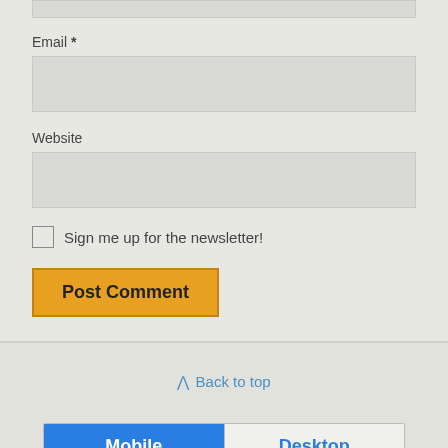Email *
Website
Sign me up for the newsletter!
Post Comment
Back to top
Mobile
Desktop